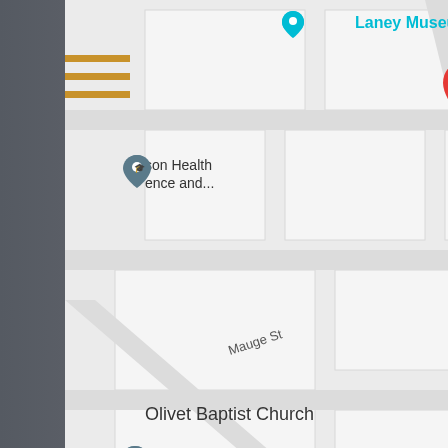[Figure (map): Google Maps screenshot showing location of Davis, Chapman, & Wilder, LLC marked with a red pin. Map shows street grid with labels including Laney Museum, Hopkins St, 12th St, Mauge St, Pine St, Olivet Baptist Church, Richmond County Health Department, and Georgia Carolina State Fairgrounds.]
© 2018 - 2019 Davis, Chapman, & Wilder, LLC.